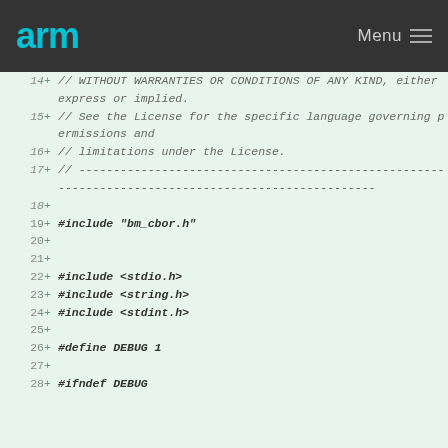arm  Menu
14  +  // WITHOUT WARRANTIES OR CONDITIONS OF ANY KIND, either express or implied.
15  +  // See the License for the specific language governing permissions and
16  +  // limitations under the License.
17  +  // --------------------------------------------------------------------------
18  +
19  +  #include "bm_cbor.h"
20  +
21  +
22  +  #include <stdio.h>
23  +  #include <string.h>
24  +  #include <stdint.h>
25  +
26  +  #define DEBUG 1
27  +
28  +  #ifndef DEBUG